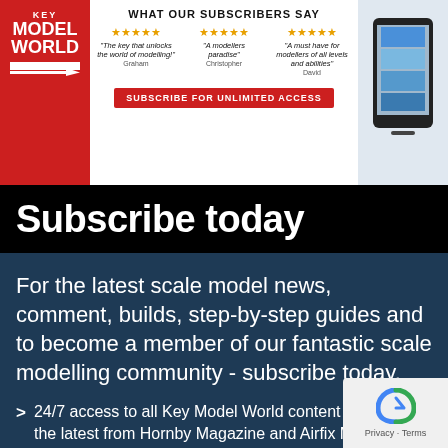[Figure (screenshot): Key Model World website banner with logo, star ratings/subscriber quotes, and subscribe button with phone image on the right]
Subscribe today
For the latest scale model news, comment, builds, step-by-step guides and to become a member of our fantastic scale modelling community - subscribe today.
24/7 access to all Key Model World content – including the latest from Hornby Magazine and Airfix Model World.